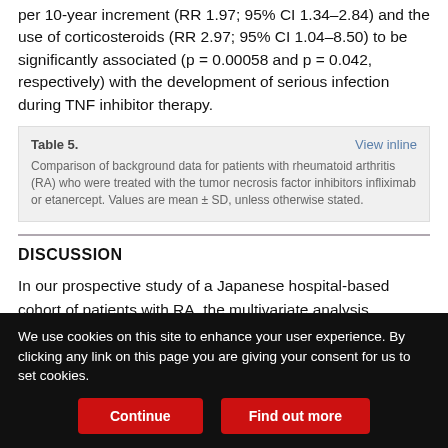per 10-year increment (RR 1.97; 95% CI 1.34–2.84) and the use of corticosteroids (RR 2.97; 95% CI 1.04–8.50) to be significantly associated (p = 0.00058 and p = 0.042, respectively) with the development of serious infection during TNF inhibitor therapy.
Table 5. Comparison of background data for patients with rheumatoid arthritis (RA) who were treated with the tumor necrosis factor inhibitors infliximab or etanercept. Values are mean ± SD, unless otherwise stated.
DISCUSSION
In our prospective study of a Japanese hospital-based cohort of patients with RA, the multivariate analysis demonstrated that
We use cookies on this site to enhance your user experience. By clicking any link on this page you are giving your consent for us to set cookies.